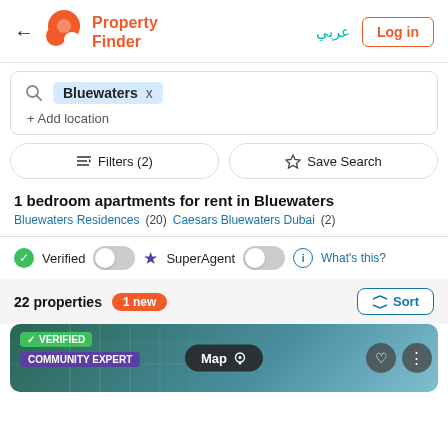Property Finder — Log in
Bluewaters x + Add location
Filters (2)   Save Search
1 bedroom apartments for rent in Bluewaters
Bluewaters Residences (20)   Caesars Bluewaters Dubai (2)
Verified [toggle]   SuperAgent [toggle]   (i) What's this?
22 properties  1 new   Sort
[Figure (screenshot): Property listing card showing a building image with VERIFIED and COMMUNITY EXPERT badges, a Map button, and heart/more action buttons]